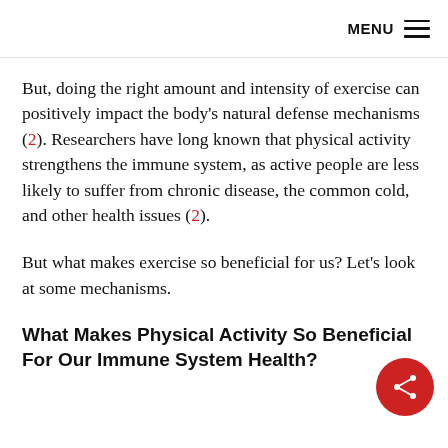MENU
But, doing the right amount and intensity of exercise can positively impact the body's natural defense mechanisms (2). Researchers have long known that physical activity strengthens the immune system, as active people are less likely to suffer from chronic disease, the common cold, and other health issues (2).
But what makes exercise so beneficial for us? Let's look at some mechanisms.
What Makes Physical Activity So Beneficial For Our Immune System Health?